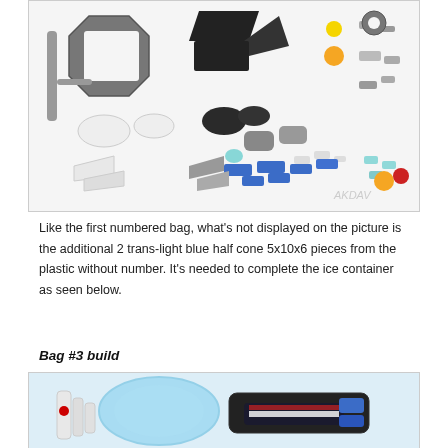[Figure (photo): Photo of assorted LEGO pieces spread out on a white background, including grey, black, white, blue, teal, orange, and red pieces of various shapes such as plates, slopes, cylinders, and connectors. A watermark 'AKDAV' visible in bottom right.]
Like the first numbered bag, what's not displayed on the picture is the additional 2 trans-light blue half cone 5x10x6 pieces from the plastic without number. It's needed to complete the ice container as seen below.
Bag #3 build
[Figure (photo): Photo of a partially built LEGO spaceship model featuring a transparent light blue cylindrical ice container on the left, white thruster pieces, and a dark spaceship body with blue and white detailing on the right.]